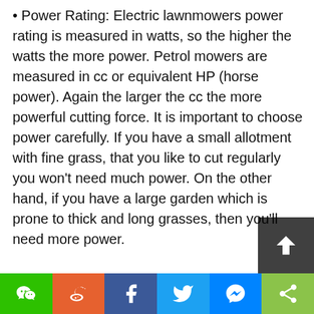• Power Rating: Electric lawnmowers power rating is measured in watts, so the higher the watts the more power. Petrol mowers are measured in cc or equivalent HP (horse power). Again the larger the cc the more powerful cutting force. It is important to choose power carefully. If you have a small allotment with fine grass, that you like to cut regularly you won't need much power. On the other hand, if you have a large garden which is prone to thick and long grasses, then you'll need more power.
• [Chinese text — Power Rating description in Chinese]
• Battery Life: It is crucial that you measure the battery life you can get out of a single charged battery when